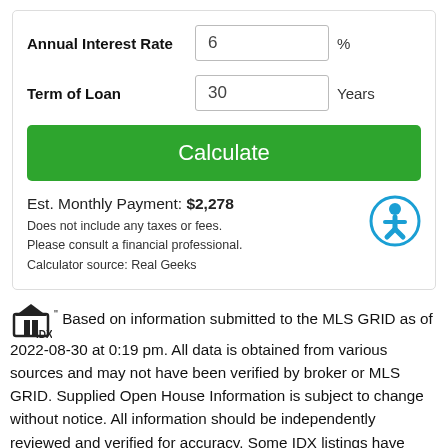Annual Interest Rate: 6 %
Term of Loan: 30 Years
Calculate
Est. Monthly Payment: $2,278
Does not include any taxes or fees.
Please consult a financial professional.
Calculator source: Real Geeks
Based on information submitted to the MLS GRID as of 2022-08-30 at 0:19 pm. All data is obtained from various sources and may not have been verified by broker or MLS GRID. Supplied Open House Information is subject to change without notice. All information should be independently reviewed and verified for accuracy. Some IDX listings have been excluded from this website. Properties may or may not be